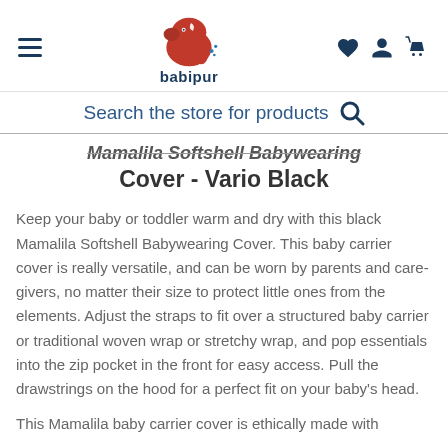babipur
Search the store for products
Mamalila Softshell Babywearing Cover - Vario Black
Keep your baby or toddler warm and dry with this black Mamalila Softshell Babywearing Cover. This baby carrier cover is really versatile, and can be worn by parents and care-givers, no matter their size to protect little ones from the elements. Adjust the straps to fit over a structured baby carrier or traditional woven wrap or stretchy wrap, and pop essentials into the zip pocket in the front for easy access. Pull the drawstrings on the hood for a perfect fit on your baby's head.
This Mamalila baby carrier cover is ethically made with